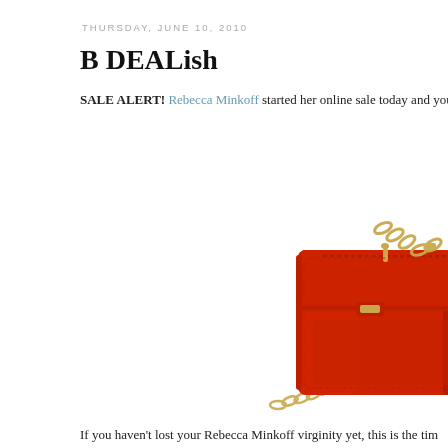THURSDAY, JUNE 10, 2010
B DEALish
SALE ALERT! Rebecca Minkoff started her online sale today and you
[Figure (photo): Red Rebecca Minkoff leather crossbody bag with gold chain strap, partially cropped at right edge of image]
If you haven't lost your Rebecca Minkoff virginity yet, this is the tim